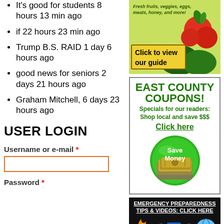It's good for students 8 hours 13 min ago
if 22 hours 23 min ago
Trump B.S. RAID 1 day 6 hours ago
good news for seniors 2 days 21 hours ago
Graham Mitchell, 6 days 23 hours ago
USER LOGIN
Username or e-mail *
Password *
[Figure (photo): Farmers market ad with fresh fruits, veggies, eggs, meats, honey — Click to view our guide]
[Figure (infographic): East County Coupons ad — Specials for our readers: Shop local and save $$$, Click here, Save Money button with cash]
[Figure (infographic): Emergency Preparedness Tips & Videos: Click Here — banner with fire and cartoon imagery]